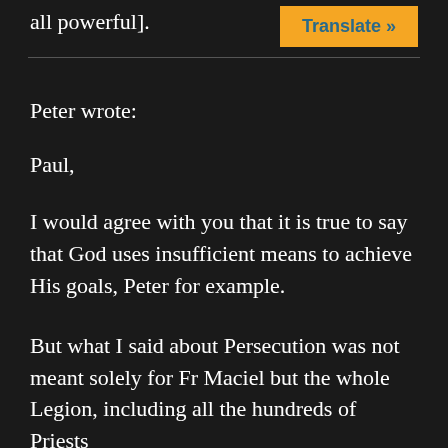all powerful].
Translate »
Peter wrote:
Paul,
I would agree with you that it is true to say that God uses insufficient means to achieve His goals, Peter for example.
But what I said about Persecution was not meant solely for Fr Maciel but the whole Legion, including all the hundreds of Priests